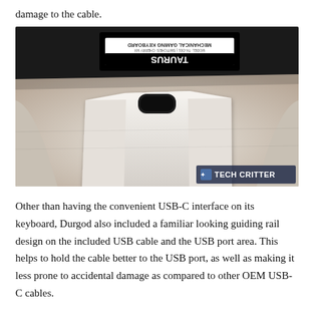damage to the cable.
[Figure (photo): Close-up photo of a white keyboard showing a USB-C port with a guiding rail design, and a black label sticker (appearing upside down as 'TAURUS') on the back of the keyboard. A 'TECH CRITTER' watermark appears in the bottom-right corner.]
Other than having the convenient USB-C interface on its keyboard, Durgod also included a familiar looking guiding rail design on the included USB cable and the USB port area. This helps to hold the cable better to the USB port, as well as making it less prone to accidental damage as compared to other OEM USB-C cables.